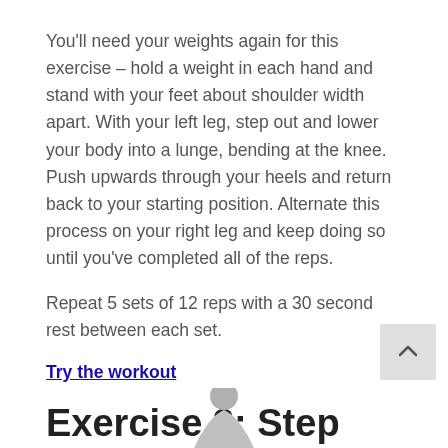You'll need your weights again for this exercise – hold a weight in each hand and stand with your feet about shoulder width apart. With your left leg, step out and lower your body into a lunge, bending at the knee. Push upwards through your heels and return back to your starting position. Alternate this process on your right leg and keep doing so until you've completed all of the reps.
Repeat 5 sets of 12 reps with a 30 second rest between each set.
Try the workout
Exercise 3: Step Ups
[Figure (photo): Partial view of a person demonstrating a step up exercise, cropped at bottom of page]